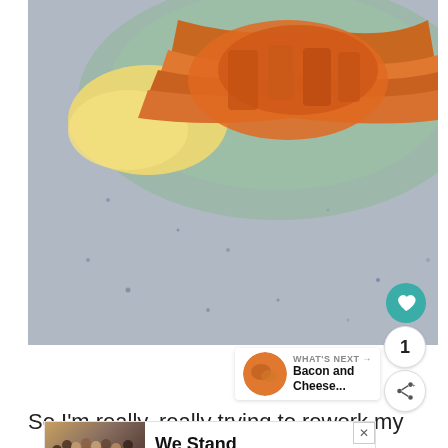[Figure (photo): Close-up food photo of crispy bacon and eggs on a green plate, on a granite countertop surface]
So I'm really, really trying to rework my
[Figure (screenshot): Ad banner showing 'We Stand Together' with people hugging, overlaid on article text]